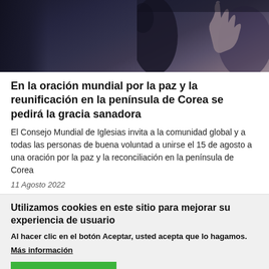[Figure (photo): Dark photo of people, hands raised, blurred background in dark blue/purple tones]
En la oración mundial por la paz y la reunificación en la península de Corea se pedirá la gracia sanadora
El Consejo Mundial de Iglesias invita a la comunidad global y a todas las personas de buena voluntad a unirse el 15 de agosto a una oración por la paz y la reconciliación en la península de Corea
11 Agosto 2022
Utilizamos cookies en este sitio para mejorar su experiencia de usuario
Al hacer clic en el botón Aceptar, usted acepta que lo hagamos.
Más información
ACEPTA    NO, GRACIAS.